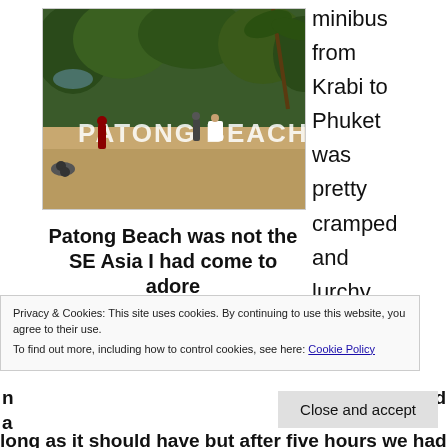[Figure (photo): Photograph of Patong Beach sign among trees with beach in background, people visible near sign]
Patong Beach was not the SE Asia I had come to adore
minibus from Krabi to Phuket was pretty cramped and lurchy and we
Privacy & Cookies: This site uses cookies. By continuing to use this website, you agree to their use.
To find out more, including how to control cookies, see here: Cookie Policy
long as it should have but after five hours we had